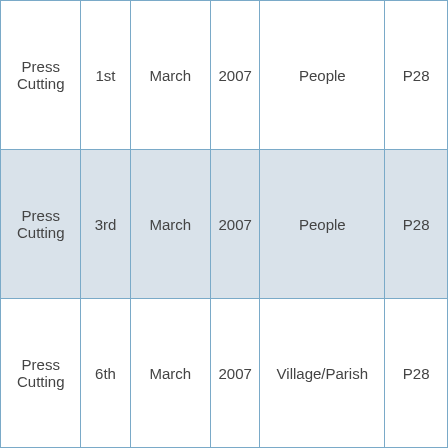| Press Cutting | 1st | March | 2007 | People | P28 |
| Press Cutting | 3rd | March | 2007 | People | P28 |
| Press Cutting | 6th | March | 2007 | Village/Parish | P28 |